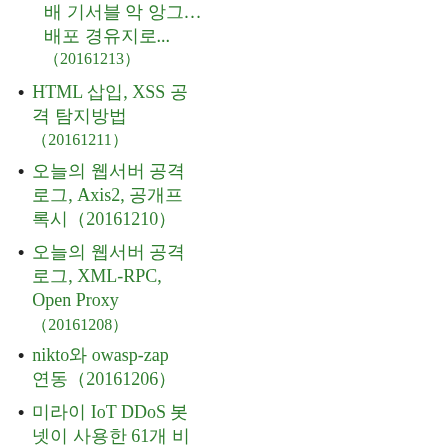배 기서블 악 앙그… 배포 경유지로... (20161213)
HTML 삽입, XSS 공격 탐지방법 (20161211)
오늘의 웹서버 공격 로그, Axis2, 공개프록시 (20161210)
오늘의 웹서버 공격 로그, XML-RPC, Open Proxy (20161208)
nikto와 owasp-zap 연동 (20161206)
미라이 IoT DDoS 봇넷이 사용한 61개 비밀번호 (20161205)